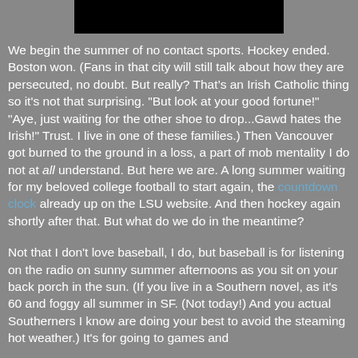[Figure (photo): Black redacted/censored bar at top center of the page]
We begin the summer of no contact sports. Hockey ended. Boston won. (Fans in that city will still talk about how they are persecuted, no doubt. But really? That’s an Irish Catholic thing so it's not that surprising. "But look at your good fortune!" "Aye, just waiting for the other shoe to drop...Gawd hates the Irish!" Trust. I live in one of these families.) Then Vancouver got burned to the ground in a loss, a part of mob mentality I do not at all understand. But here we are. A long summer waiting for my beloved college football to start again, the countdown clock already up on the LSU website. And then hockey again shortly after that. But what do we do in the meantime?
Not that I don't love baseball, I do, but baseball is for listening on the radio on sunny summer afternoons as you sit on your back porch in the sun. (If you live in a Southern novel, as it's 60 and foggy all summer in SF. (Not today!) And you actual Southerners I know are doing your best to avoid the steaming hot weather.) It's for going to games and socializing and half-paying attention while you chat to one in